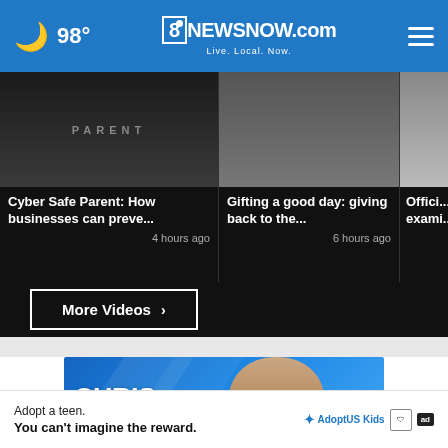🌙 98° | 8onewsnow.com | Live. Local. Now.
[Figure (screenshot): Video thumbnail for 'Cyber Safe Parent: How businesses can preve...' - 4 hours ago]
[Figure (screenshot): Video thumbnail for 'Gifting a good day: giving back to the...' - 6 hours ago]
[Figure (screenshot): Video thumbnail for 'Offici... exami...' - partially visible]
More Videos ›
[Figure (photo): Chris Cuomo promotional image on blue background]
Adopt a teen. You can't imagine the reward.